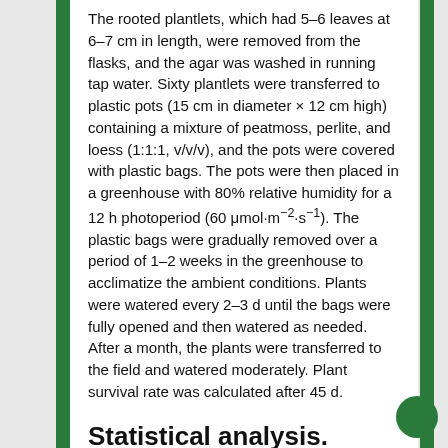The rooted plantlets, which had 5–6 leaves at 6–7 cm in length, were removed from the flasks, and the agar was washed in running tap water. Sixty plantlets were transferred to plastic pots (15 cm in diameter × 12 cm high) containing a mixture of peatmoss, perlite, and loess (1:1:1, v/v/v), and the pots were covered with plastic bags. The pots were then placed in a greenhouse with 80% relative humidity for a 12 h photoperiod (60 μmol·m⁻²·s⁻¹). The plastic bags were gradually removed over a period of 1–2 weeks in the greenhouse to acclimatize the ambient conditions. Plants were watered every 2–3 d until the bags were fully opened and then watered as needed. After a month, the plants were transferred to the field and watered moderately. Plant survival rate was calculated after 45 d.
Statistical analysis.
All the experiments were laid out in a